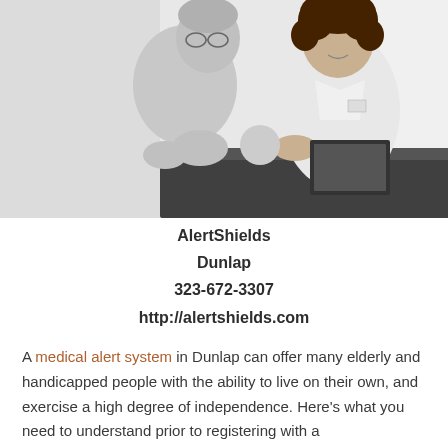[Figure (photo): Black and white photo of an elderly person and a caregiver/nurse sitting at a table, looking at documents together.]
AlertShields
Dunlap
323-672-3307
http://alertshields.com
A medical alert system in Dunlap can offer many elderly and handicapped people with the ability to live on their own, and exercise a high degree of independence. Here's what you need to understand prior to registering with a medical alert system provider.